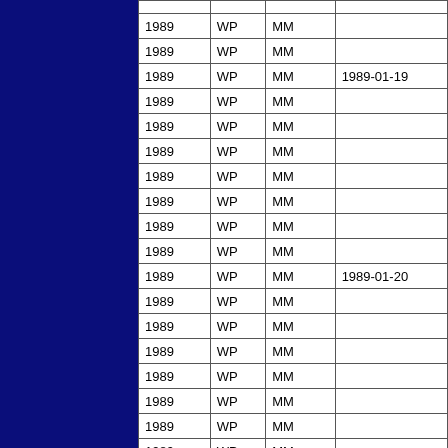| Year | Type | Cat | Date |
| --- | --- | --- | --- |
| 1989 | WP | MM |  |
| 1989 | WP | MM |  |
| 1989 | WP | MM | 1989-01-19 |
| 1989 | WP | MM |  |
| 1989 | WP | MM |  |
| 1989 | WP | MM |  |
| 1989 | WP | MM |  |
| 1989 | WP | MM |  |
| 1989 | WP | MM |  |
| 1989 | WP | MM |  |
| 1989 | WP | MM | 1989-01-20 |
| 1989 | WP | MM |  |
| 1989 | WP | MM |  |
| 1989 | WP | MM |  |
| 1989 | WP | MM |  |
| 1989 | WP | MM |  |
| 1989 | WP | MM |  |
| 1989 | WP | MM |  |
| 1989 | WP | MM | 1989-01-21 |
| 1989 | WP | MM |  |